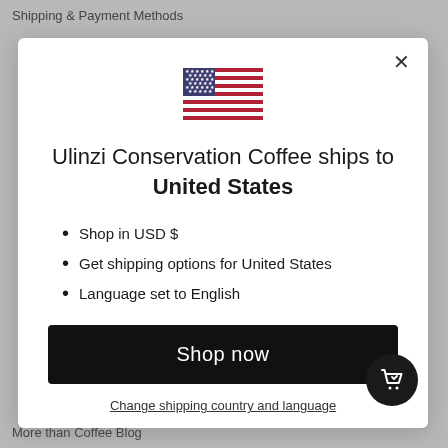Shipping & Payment Methods
[Figure (illustration): US flag emoji / illustration centered at top of modal]
Ulinzi Conservation Coffee ships to United States
Shop in USD $
Get shipping options for United States
Language set to English
Shop now
Change shipping country and language
More than Coffee Blog